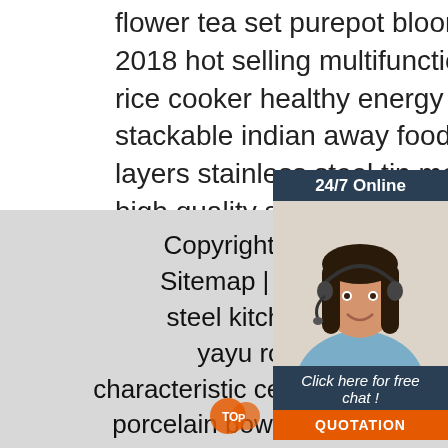flower tea set purepot blooming infuser 2018 hot selling multifunction deluxe electric rice cooker healthy energy saving quality stackable indian away food tiffin carrier 2 3 4 layers stainless steel tin metal lunch high quality stainless steel magneti condits spice rack set customized l
[Figure (photo): Customer service representative woman with headset smiling, inside a chat/support widget with dark blue header '24/7 Online', italic text 'Click here for free chat!', and an orange 'QUOTATION' button]
Copyright © Aughta Technology (Shenzh Sitemap | hot sell stainless steel 4 layer steel kitchen storage rack restaurant | m yayu round shape rice shop bowl fi characteristic ceramic flower leaf design cheap salad porcelain bowl | multifunctional household kitchen appliance small food blender electric meat vegetable garlic onion food chopper